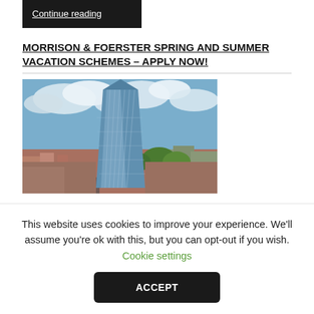Continue reading
MORRISON & FOERSTER SPRING AND SUMMER VACATION SCHEMES – APPLY NOW!
[Figure (photo): Aerial view of a modern glass skyscraper in a city, likely Manchester or London, with cloudy blue sky and urban surroundings including trees and brick buildings.]
This website uses cookies to improve your experience. We'll assume you're ok with this, but you can opt-out if you wish. Cookie settings
ACCEPT